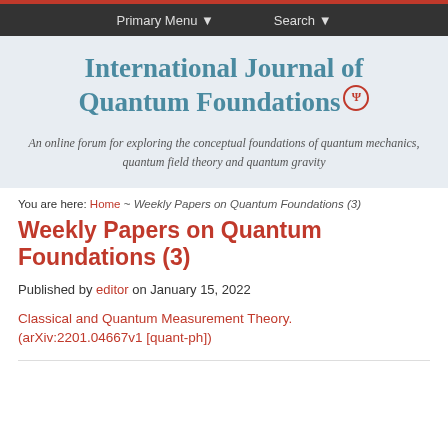Primary Menu ▼   Search ▼
International Journal of Quantum Foundations
An online forum for exploring the conceptual foundations of quantum mechanics, quantum field theory and quantum gravity
You are here: Home ~ Weekly Papers on Quantum Foundations (3)
Weekly Papers on Quantum Foundations (3)
Published by editor on January 15, 2022
Classical and Quantum Measurement Theory. (arXiv:2201.04667v1 [quant-ph])